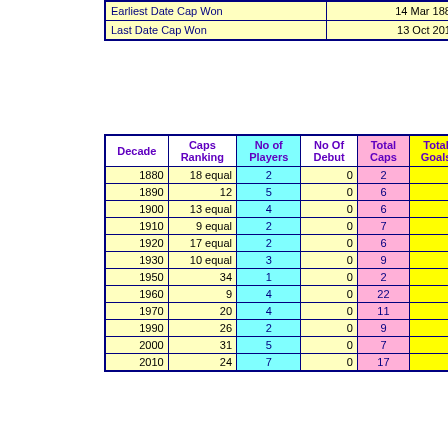|  |  |
| --- | --- |
| Earliest Date Cap Won | 14 Mar 1885 |
| Last Date Cap Won | 13 Oct 2019 |
| Decade | Caps Ranking | No of Players | No Of Debut | Total Caps | Total Goals |
| --- | --- | --- | --- | --- | --- |
| 1880 | 18 equal | 2 | 0 | 2 | 3 |
| 1890 | 12 | 5 | 0 | 6 | 1 |
| 1900 | 13 equal | 4 | 0 | 6 | 0 |
| 1910 | 9 equal | 2 | 0 | 7 | 0 |
| 1920 | 17 equal | 2 | 0 | 6 | 0 |
| 1930 | 10 equal | 3 | 0 | 9 | 0 |
| 1950 | 34 | 1 | 0 | 2 | 0 |
| 1960 | 9 | 4 | 0 | 22 | 1 |
| 1970 | 20 | 4 | 0 | 11 | 0 |
| 1990 | 26 | 2 | 0 | 9 | 0 |
| 2000 | 31 | 5 | 0 | 7 | 0 |
| 2010 | 24 | 7 | 0 | 17 | 1 |
| Season | Caps Ranking | No of Players | No Of Debut | Total Caps | Total Goals |
| --- | --- | --- | --- | --- | --- |
| 1884-85 | 6 | 1 | 0 | 1 | 3 |
| 1887-88 | 8 | 1 | 0 | 1 | 0 |
| 1890-91 | 5 | 1 | 0 | 1 | 0 |